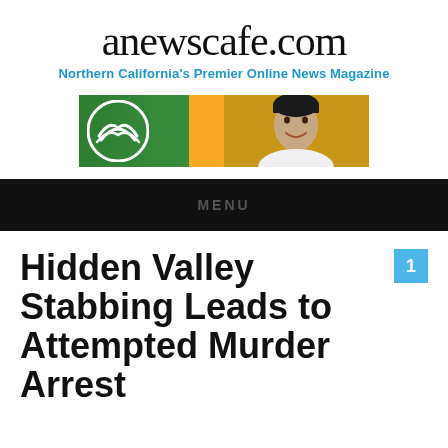anewscafe.com
Northern California's Premier Online News Magazine
[Figure (photo): Advertisement banner with green/yellow background, a white mountain/wave logo circle on the left, and a smiling woman's face on the right against a yellow-orange background]
MENU
Hidden Valley Stabbing Leads to Attempted Murder Arrest